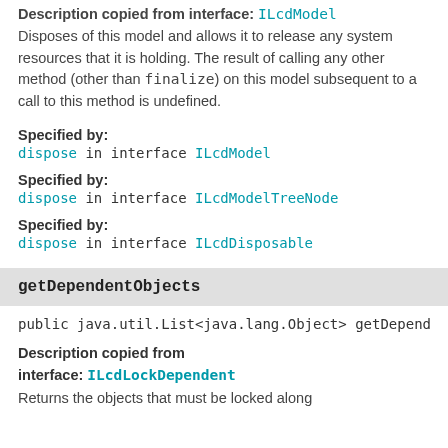Description copied from interface: ILcdModel
Disposes of this model and allows it to release any system resources that it is holding. The result of calling any other method (other than finalize) on this model subsequent to a call to this method is undefined.
Specified by:
dispose in interface ILcdModel
Specified by:
dispose in interface ILcdModelTreeNode
Specified by:
dispose in interface ILcdDisposable
getDependentObjects
public java.util.List<java.lang.Object> getDepend...
Description copied from interface: ILcdLockDependent
Returns the objects that must be locked along